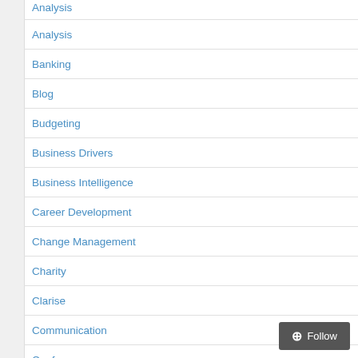Analysis
Banking
Blog
Budgeting
Business Drivers
Business Intelligence
Career Development
Change Management
Charity
Clarise
Communication
Conferences